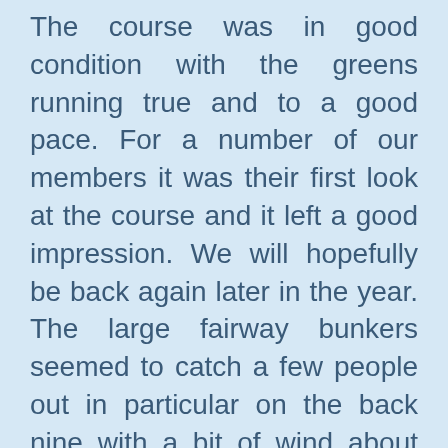The course was in good condition with the greens running true and to a good pace. For a number of our members it was their first look at the course and it left a good impression. We will hopefully be back again later in the year. The large fairway bunkers seemed to catch a few people out in particular on the back nine with a bit of wind about not helping anyone susceptible to a slice.
It was Steve Herons day though by staying straight, plotting his way around the course, using his handicap well and coming in with 36 points. Garth was second on 34 points and displayed some great power hitting from the tee. His hit on